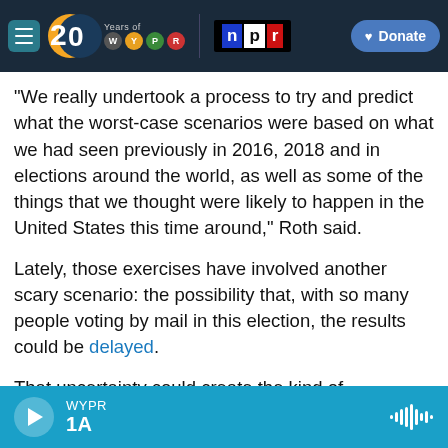WYPR 20 Years of WYPR | npr | Donate
"We really undertook a process to try and predict what the worst-case scenarios were based on what we had seen previously in 2016, 2018 and in elections around the world, as well as some of the things that we thought were likely to happen in the United States this time around," Roth said.
Lately, those exercises have involved another scary scenario: the possibility that, with so many people voting by mail in this election, the results could be delayed.
That uncertainty could create the kind of
WYPR 1A